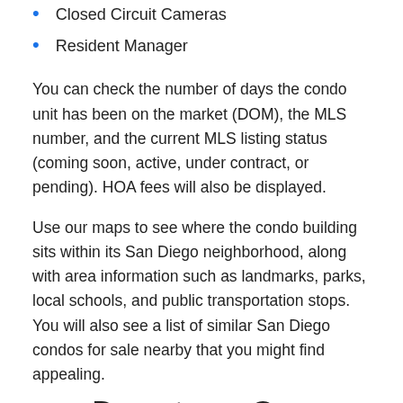Closed Circuit Cameras
Resident Manager
You can check the number of days the condo unit has been on the market (DOM), the MLS number, and the current MLS listing status (coming soon, active, under contract, or pending). HOA fees will also be displayed.
Use our maps to see where the condo building sits within its San Diego neighborhood, along with area information such as landmarks, parks, local schools, and public transportation stops. You will also see a list of similar San Diego condos for sale nearby that you might find appealing.
Downtown San Diego